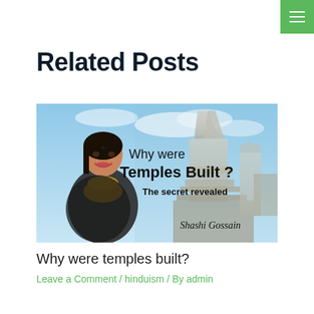Related Posts
[Figure (photo): Blog post thumbnail image showing a woman in a black saree with gold jewelry against a backdrop of a Hindu temple. Text overlay reads: 'Why were Temples Built? The secret revealed' with signature 'Shashi Gossain']
Why were temples built?
Leave a Comment / hinduism / By admin